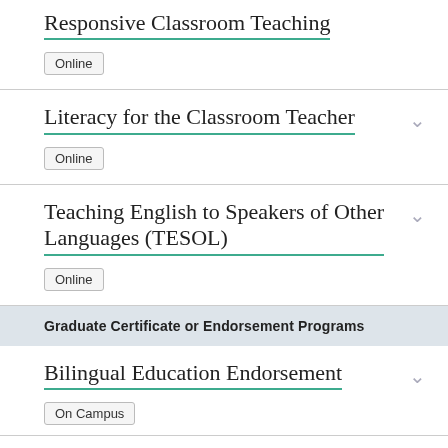Responsive Classroom Teaching
Online
Literacy for the Classroom Teacher
Online
Teaching English to Speakers of Other Languages (TESOL)
Online
Graduate Certificate or Endorsement Programs
Bilingual Education Endorsement
On Campus